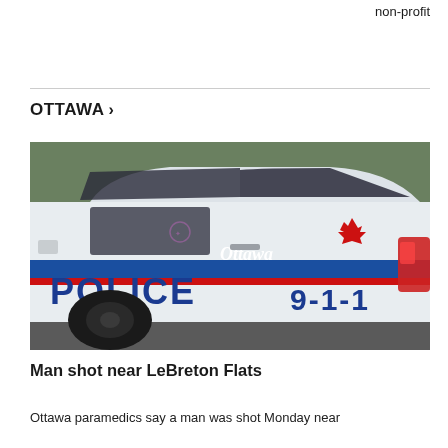non-profit
OTTAWA >
[Figure (photo): Ottawa Police SUV vehicle with 'POLICE' and '9-1-1' markings, featuring the Ottawa logo with a maple leaf on the side door, parked outdoors.]
Man shot near LeBreton Flats
Ottawa paramedics say a man was shot Monday near